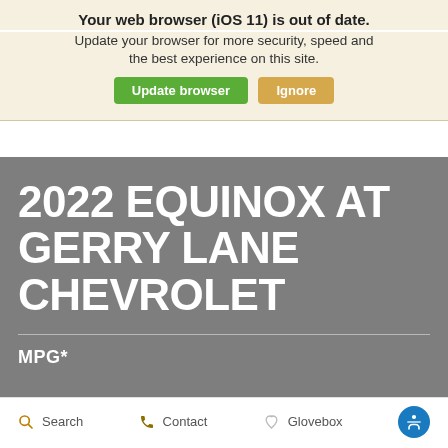Your web browser (iOS 11) is out of date.
Update your browser for more security, speed and the best experience on this site.
Update browser | Ignore
2022 EQUINOX AT GERRY LANE CHEVROLET
MPG*
Search  Contact  Glovebox